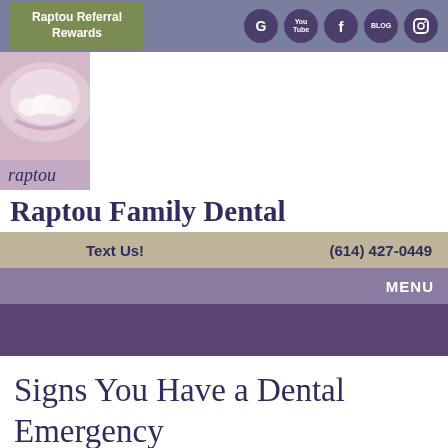Raptou Referral Rewards
[Figure (logo): Raptou Family Dental logo with smile photo and text 'raptou']
Raptou Family Dental
Text Us! (614) 427-0449
MENU
Signs You Have a Dental Emergency